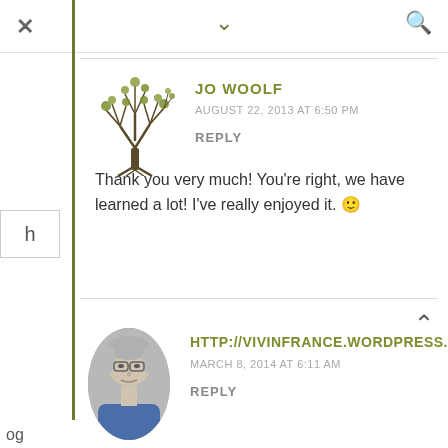× ∨ 🔍
[Figure (illustration): Tree/plant illustration used as avatar for Jo Woolf comment]
JO WOOLF
AUGUST 22, 2013 AT 6:50 PM
REPLY
Thank you very much! You're right, we have learned a lot! I've really enjoyed it. 🙂
[Figure (photo): Circular profile photo of an elderly person for the second comment]
HTTP://VIVINFRANCE.WORDPRESS.COM
MARCH 8, 2014 AT 6:11 AM
REPLY